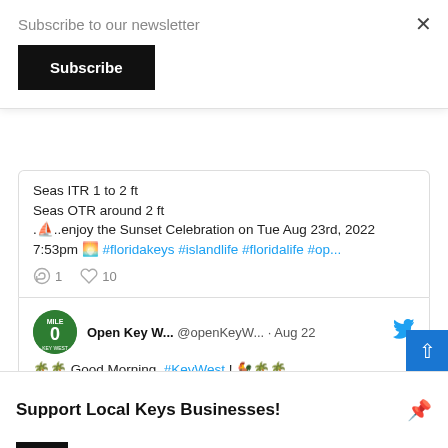Subscribe to our newsletter
Subscribe
Seas ITR 1 to 2 ft
Seas OTR around 2 ft
.⛵..enjoy the Sunset Celebration on Tue Aug 23rd, 2022 7:53pm 🌅 #floridakeys #islandlife #floridalife #op...
1   10
Open Key W... @openKeyW... · Aug 22
🌴🌴 Good Morning, #KeyWest ! 🐓🌴🌴
Partly Cloudy today!  high 88F / low 82F with
81% humidity
Support Local Keys Businesses!